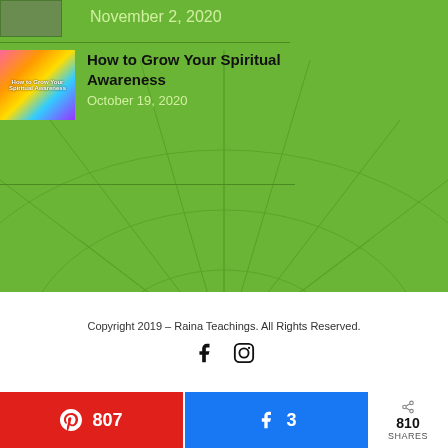November 2, 2020
How to Grow Your Spiritual Awareness
October 19, 2020
Copyright 2019 – Raina Teachings. All Rights Reserved.
[Figure (other): Social media icons: Facebook and Instagram]
[Figure (infographic): Share bar with Pinterest (807), Facebook (3), and total shares (810)]